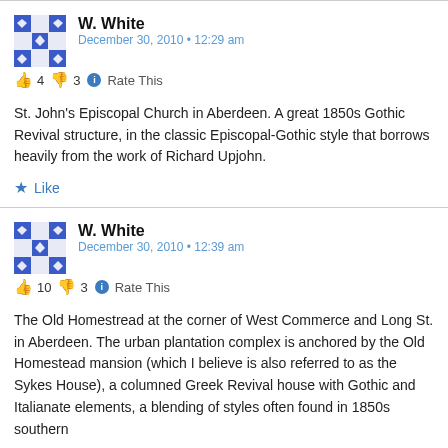W. White
December 30, 2010 • 12:29 am
👍 4 👎 3 ℹ Rate This
St. John's Episcopal Church in Aberdeen. A great 1850s Gothic Revival structure, in the classic Episcopal-Gothic style that borrows heavily from the work of Richard Upjohn.
★ Like
W. White
December 30, 2010 • 12:39 am
👍 10 👎 3 ℹ Rate This
The Old Homestread at the corner of West Commerce and Long St. in Aberdeen. The urban plantation complex is anchored by the Old Homestead mansion (which I believe is also referred to as the Sykes House), a columned Greek Revival house with Gothic and Italianate elements, a blending of styles often found in 1850s southern